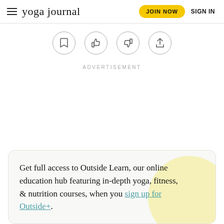yoga journal | JOIN NOW | SIGN IN
[Figure (other): Row of four circular icon buttons: bookmark, thumbs up, thumbs down, share]
ADVERTISEMENT
Get full access to Outside Learn, our online education hub featuring in-depth yoga, fitness, & nutrition courses, when you sign up for Outside+.